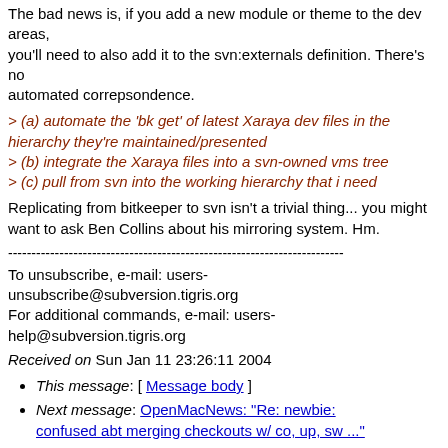The bad news is, if you add a new module or theme to the dev areas, you'll need to also add it to the svn:externals definition. There's no automated correpsondence.
> (a) automate the 'bk get' of latest Xaraya dev files in the hierarchy they're maintained/presented
> (b) integrate the Xaraya files into a svn-owned vms tree
> (c) pull from svn into the working hierarchy that i need
Replicating from bitkeeper to svn isn't a trivial thing... you might want to ask Ben Collins about his mirroring system. Hm.
------------------------------------------------------------------------
To unsubscribe, e-mail: users-unsubscribe@subversion.tigris.org
For additional commands, e-mail: users-help@subversion.tigris.org
Received on Sun Jan 11 23:26:11 2004
This message: [ Message body ]
Next message: OpenMacNews: "Re: newbie: confused abt merging checkouts w/ co, up, sw ..."
Previous message: Walter Nicholls: "RE: SCC API ..."